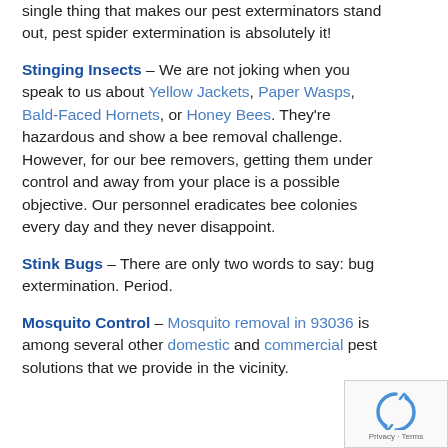single thing that makes our pest exterminators stand out, pest spider extermination is absolutely it!
Stinging Insects – We are not joking when you speak to us about Yellow Jackets, Paper Wasps, Bald-Faced Hornets, or Honey Bees. They're hazardous and show a bee removal challenge. However, for our bee removers, getting them under control and away from your place is a possible objective. Our personnel eradicates bee colonies every day and they never disappoint.
Stink Bugs – There are only two words to say: bug extermination. Period.
Mosquito Control – Mosquito removal in 93036 is among several other domestic and commercial pest solutions that we provide in the vicinity.